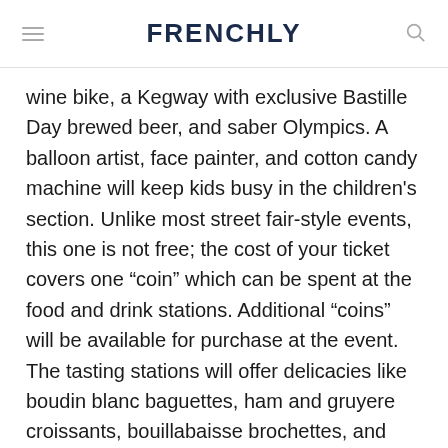FRENCHLY
wine bike, a Kegway with exclusive Bastille Day brewed beer, and saber Olympics. A balloon artist, face painter, and cotton candy machine will keep kids busy in the children's section. Unlike most street fair-style events, this one is not free; the cost of your ticket covers one “coin” which can be spent at the food and drink stations. Additional “coins” will be available for purchase at the event. The tasting stations will offer delicacies like boudin blanc baguettes, ham and gruyere croissants, bouillabaisse brochettes, and more. (Buy